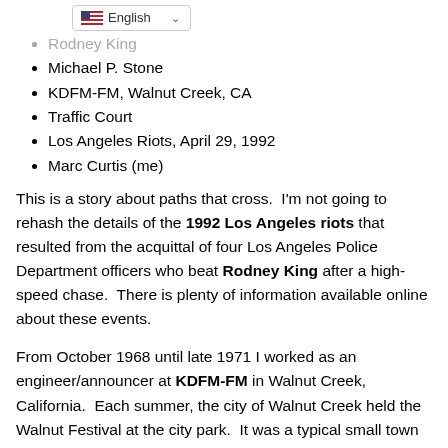Rodney King
Michael P. Stone
KDFM-FM, Walnut Creek, CA
Traffic Court
Los Angeles Riots, April 29, 1992
Marc Curtis (me)
This is a story about paths that cross.  I'm not going to rehash the details of the 1992 Los Angeles riots that resulted from the acquittal of four Los Angeles Police Department officers who beat Rodney King after a high-speed chase.  There is plenty of information available online about these events.
From October 1968 until late 1971 I worked as an engineer/announcer at KDFM-FM in Walnut Creek, California.  Each summer, the city of Walnut Creek held the Walnut Festival at the city park.  It was a typical small town carnival with various booths and rides, and KDFM was broadcasting live from the festival each evening.  On one of those evenings I had packed up the remote